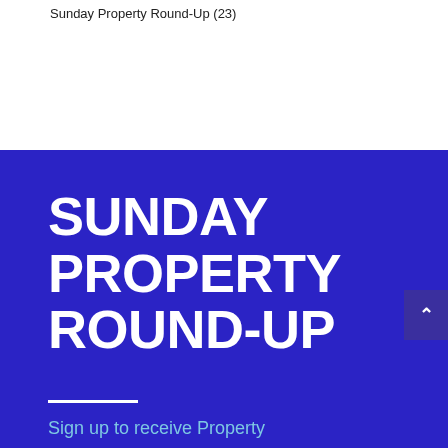Sunday Property Round-Up (23)
SUNDAY PROPERTY ROUND-UP
Sign up to receive Property